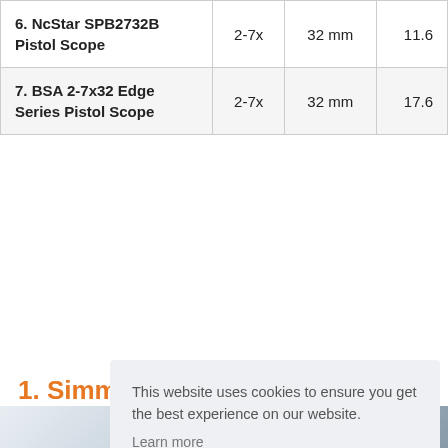| Product | Magnification | Objective | Weight |
| --- | --- | --- | --- |
| 6. NcStar SPB2732B Pistol Scope | 2-7x | 32 mm | 11.6 |
| 7. BSA 2-7x32 Edge Series Pistol Scope | 2-7x | 32 mm | 17.6 |
1. Simmons 822010 – Bu... Bu...
This website uses cookies to ensure you get the best experience on our website.
Learn more
Got it!